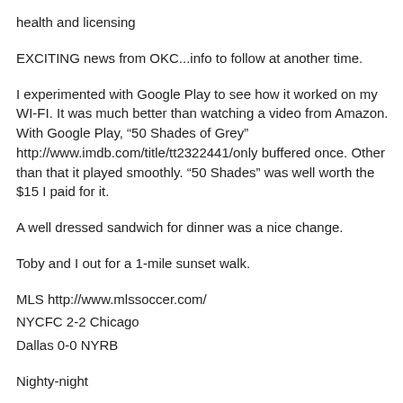health and licensing
EXCITING news from OKC...info to follow at another time.
I experimented with Google Play to see how it worked on my WI-FI.  It was much better than watching a video from Amazon.  With Google Play, “50 Shades of Grey” http://www.imdb.com/title/tt2322441/only buffered once.  Other than that it played smoothly.  “50 Shades” was well worth the $15 I paid for it.
A well dressed sandwich for dinner was a nice change.
Toby and I out for a 1-mile sunset walk.
MLS http://www.mlssoccer.com/
NYCFC 2-2 Chicago
Dallas 0-0 NYRB
Nighty-night